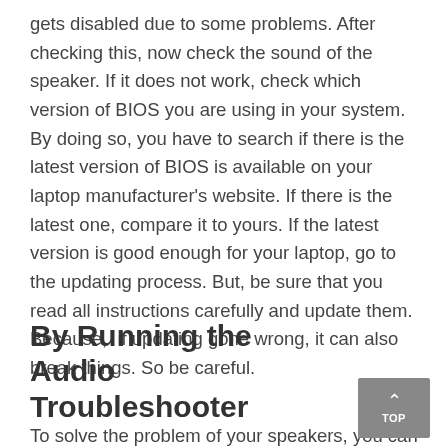gets disabled due to some problems. After checking this, now check the sound of the speaker. If it does not work, check which version of BIOS you are using in your system. By doing so, you have to search if there is the latest version of BIOS is available on your laptop manufacturer's website. If there is the latest one, compare it to yours. If the latest version is good enough for your laptop, go to the updating process. But, be sure that you read all instructions carefully and update them. Because,  if updating gone wrong, it can also break things. So be careful.
By Running the Audio Troubleshooter
To solve the problem of your speakers, you can go